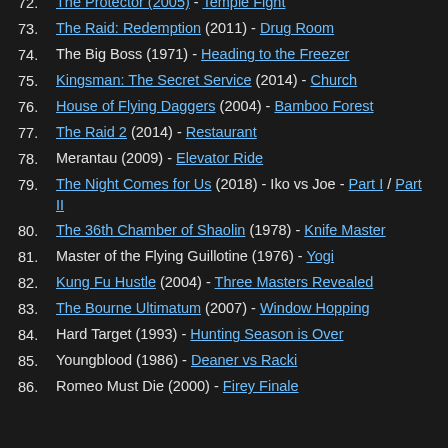72. The Protector (2005) - Temple Fight
73. The Raid: Redemption (2011) - Drug Room
74. The Big Boss (1971) - Heading to the Freezer
75. Kingsman: The Secret Service (2014) - Church
76. House of Flying Daggers (2004) - Bamboo Forest
77. The Raid 2 (2014) - Restaurant
78. Merantau (2009) - Elevator Ride
79. The Night Comes for Us (2018) - Iko vs Joe - Part I / Part II
80. The 36th Chamber of Shaolin (1978) - Knife Master
81. Master of the Flying Guillotine (1976) - Yogi
82. Kung Fu Hustle (2004) - Three Masters Revealed
83. The Bourne Ultimatum (2007) - Window Hopping
84. Hard Target (1993) - Hunting Season is Over
85. Youngblood (1986) - Deaner vs Racki
86. Romeo Must Die (2000) - Firey Finale